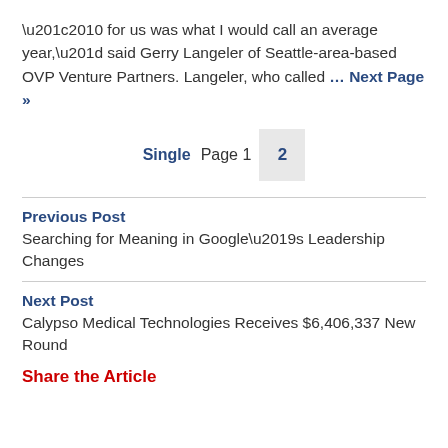“2010 for us was what I would call an average year,” said Gerry Langeler of Seattle-area-based OVP Venture Partners. Langeler, who called … Next Page »
Single  Page 1  2
Previous Post
Searching for Meaning in Google’s Leadership Changes
Next Post
Calypso Medical Technologies Receives $6,406,337 New Round
Share the Article